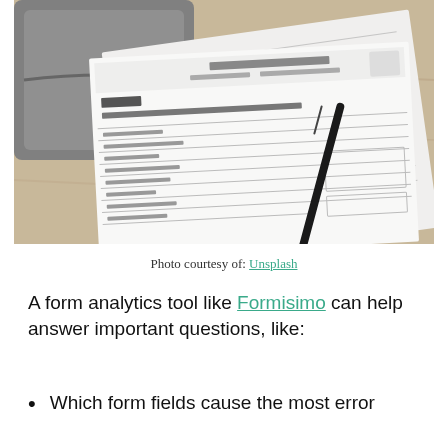[Figure (photo): A photograph of IRS Form 1120 (U.S. Corporation Income Tax Return) laid on a wooden desk beside a black pen and a grey zippered case/bag. The form shows printed lines and fields typical of a tax document.]
Photo courtesy of: Unsplash
A form analytics tool like Formisimo can help answer important questions, like:
Which form fields cause the most error